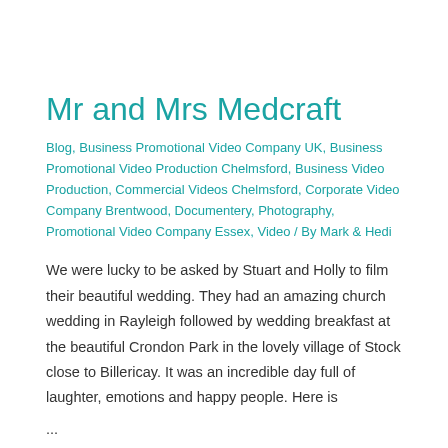Mr and Mrs Medcraft
Blog, Business Promotional Video Company UK, Business Promotional Video Production Chelmsford, Business Video Production, Commercial Videos Chelmsford, Corporate Video Company Brentwood, Documentery, Photography, Promotional Video Company Essex, Video / By Mark & Hedi
We were lucky to be asked by Stuart and Holly to film their beautiful wedding. They had an amazing church wedding in Rayleigh followed by wedding breakfast at the beautiful Crondon Park in the lovely village of Stock close to Billericay. It was an incredible day full of laughter, emotions and happy people. Here is ...
Read More »